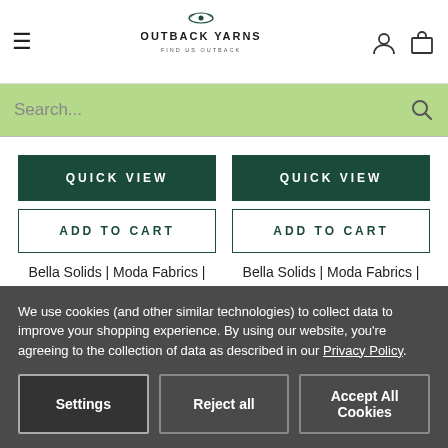Outback Yarns — Find Us Outback
Search...
QUICK VIEW
ADD TO CART
Bella Solids | Moda Fabrics | 9900-109 | Pond
$3.25
QUICK VIEW
ADD TO CART
Bella Solids | Moda Fabrics | 9900-110 | Dark Teal | 0.4m Remnant
We use cookies (and other similar technologies) to collect data to improve your shopping experience. By using our website, you're agreeing to the collection of data as described in our Privacy Policy.
Settings
Reject all
Accept All Cookies